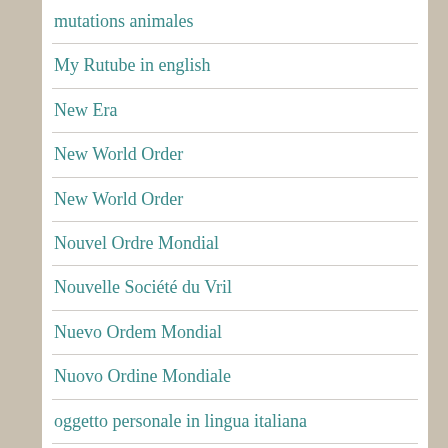mutations animales
My Rutube in english
New Era
New World Order
New World Order
Nouvel Ordre Mondial
Nouvelle Société du Vril
Nuevo Ordem Mondial
Nuovo Ordine Mondiale
oggetto personale in lingua italiana